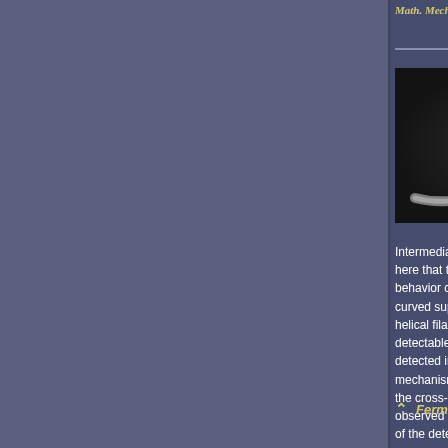Math. Mech. Solids, 24: 4051, 2019. C
[Figure (photo): Grayscale microscopy image of a helical/looped intermediate filament structure on dark background, with a white scale bar at the bottom right.]
Helica
Lila Bouzar, Mar
Intermediate filaments are the least exp here that they display conformational an behavior can be understood as the cons curved superstructure. Confinement in a helical filaments and enhances their str detectable, strongly oscillating tangent c detected intrinsic curving phenomenon mechanism involves self-induced filame the cross-section. The results agree wit observed looped intermediate filament s of the detected helical torsion remains a
Fermer    Plus d'infos